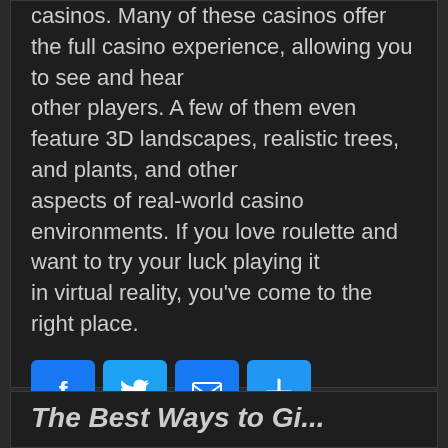casinos. Many of these casinos offer the full casino experience, allowing you to see and hear other players. A few of them even feature 3D landscapes, realistic trees, and plants, and other aspects of real-world casino environments. If you love roulette and want to try your luck playing it in virtual reality, you've come to the right place.
[Figure (infographic): Social sharing buttons: Facebook (blue), Twitter (light blue), Email (blue envelope), More/Share (blue plus)]
Posted in Uncategorized
The Best Ways to Give...